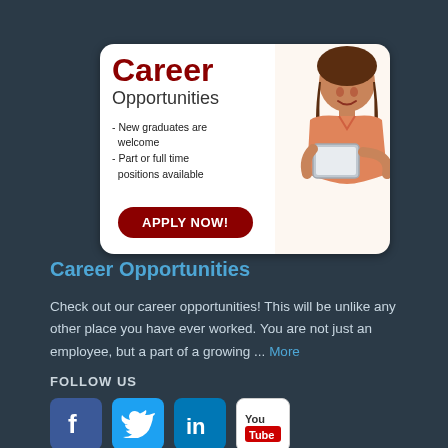[Figure (infographic): Career Opportunities banner ad with woman holding tablet, red APPLY NOW button, white rounded rectangle background]
Career Opportunities
Check out our career opportunities! This will be unlike any other place you have ever worked. You are not just an employee, but a part of a growing ... More
FOLLOW US
[Figure (infographic): Social media icons: Facebook, Twitter, LinkedIn, YouTube]